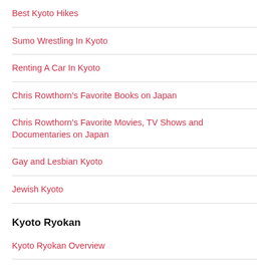Best Kyoto Hikes
Sumo Wrestling In Kyoto
Renting A Car In Kyoto
Chris Rowthorn's Favorite Books on Japan
Chris Rowthorn's Favorite Movies, TV Shows and Documentaries on Japan
Gay and Lesbian Kyoto
Jewish Kyoto
Kyoto Ryokan
Kyoto Ryokan Overview
Best Ryokan In Kyoto